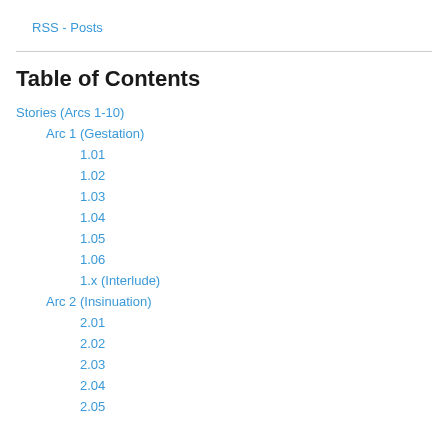RSS - Posts
Table of Contents
Stories (Arcs 1-10)
Arc 1 (Gestation)
1.01
1.02
1.03
1.04
1.05
1.06
1.x (Interlude)
Arc 2 (Insinuation)
2.01
2.02
2.03
2.04
2.05